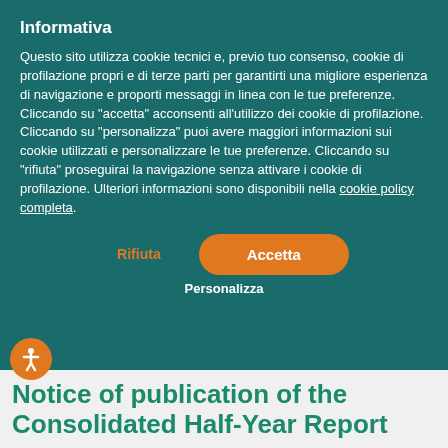Informativa
Questo sito utilizza cookie tecnici e, previo tuo consenso, cookie di profilazione propri e di terze parti per garantirti una migliore esperienza di navigazione e proporti messaggi in linea con le tue preferenze. Cliccando su "accetta" acconsenti all'utilizzo dei cookie di profilazione. Cliccando su "personalizza" puoi avere maggiori informazioni sui cookie utilizzati e personalizzare le tue preferenze. Cliccando su "rifiuta" proseguirai la navigazione senza attivare i cookie di profilazione. Ulteriori informazioni sono disponibili nella cookie policy completa.
Rifiuta
Accetta
Personalizza
Notice of publication of the Consolidated Half-Year Report